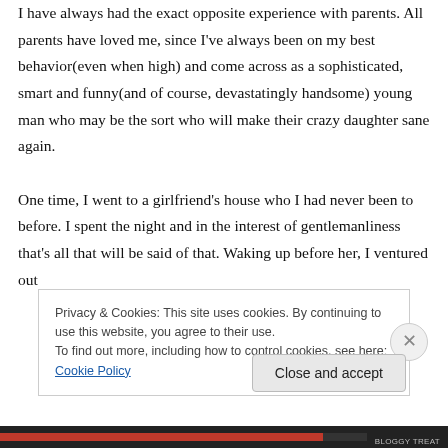I have always had the exact opposite experience with parents. All parents have loved me, since I've always been on my best behavior(even when high) and come across as a sophisticated, smart and funny(and of course, devastatingly handsome) young man who may be the sort who will make their crazy daughter sane again.

One time, I went to a girlfriend's house who I had never been to before. I spent the night and in the interest of gentlemanliness that's all that will be said of that. Waking up before her, I ventured out
Privacy & Cookies: This site uses cookies. By continuing to use this website, you agree to their use.
To find out more, including how to control cookies, see here: Cookie Policy
Close and accept